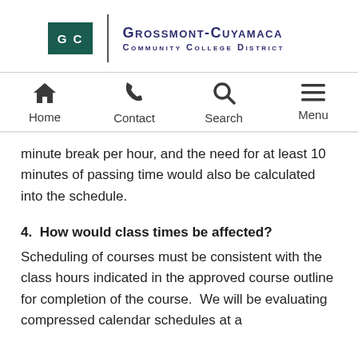[Figure (logo): Grossmont-Cuyamaca Community College District logo with teal square icon and text]
Home | Contact | Search | Menu
minute break per hour, and the need for at least 10 minutes of passing time would also be calculated into the schedule.
4.  How would class times be affected?
Scheduling of courses must be consistent with the class hours indicated in the approved course outline for completion of the course.  We will be evaluating compressed calendar schedules at a